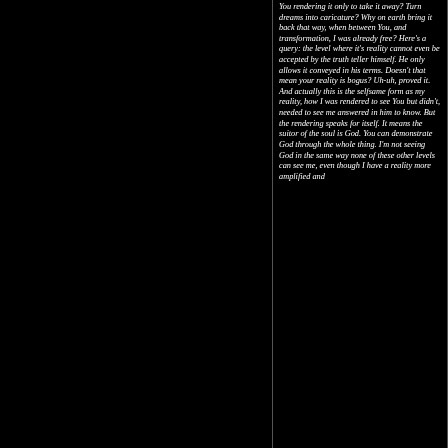You rendering it only to take it away? Turn dreams into caricature? Why on earth bring it back that way, when between You, and transformation, I was already free? Here's a query: the level where it's reality cannot even be accepted by the truth teller himself. He only allows it conveyed in his terms. Doesn't that mean your reality is bogus? Uh-uh, proved it. And actually this is the selfsame form as my reality, how I was rendered to see You but didn't, needed to see me answered in him to know. But the rendering speaks for itself. It means the suitor of the soul is God. You can demonstrate God through the whole thing. I'm not seeing God in the same way none of these other levels can see me, even though I have a reality more amplified and